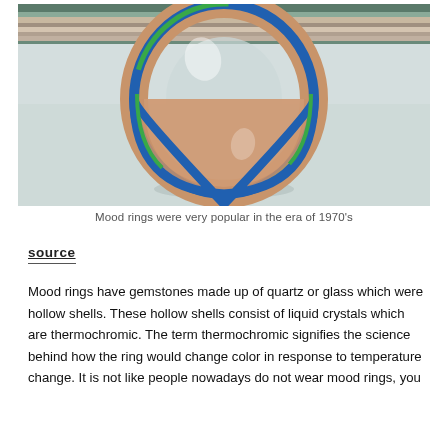[Figure (photo): Close-up photo of a mood ring with blue and green resin and natural wood banding, standing upright on a white surface with stacked books in the background.]
Mood rings were very popular in the era of 1970's
source
Mood rings have gemstones made up of quartz or glass which were hollow shells. These hollow shells consist of liquid crystals which are thermochromic. The term thermochromic signifies the science behind how the ring would change color in response to temperature change. It is not like people nowadays do not wear mood rings, you